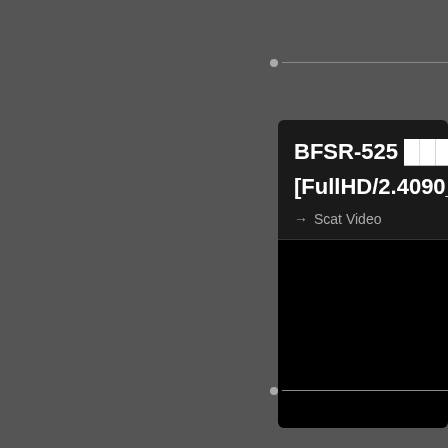[Figure (screenshot): Website screenshot showing a video listing card with title BFSR-525 [FullHD/2.4090_E...], category Scat Video, a black video player area, red text with BFSR-525 and a download button on a dark background]
BFSR-525 [FullHD/2.4090_B
Scat Video
BFSR-525 6
DOWNLOAD